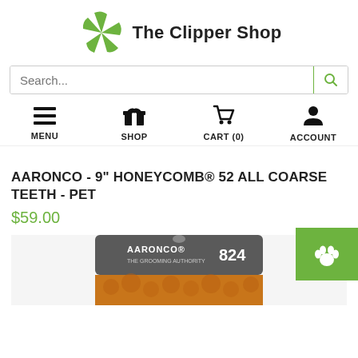[Figure (logo): The Clipper Shop logo with green pinwheel/fan icon and bold text 'The Clipper Shop']
Search...
MENU  SHOP  CART (0)  ACCOUNT
AARONCO - 9" HONEYCOMB® 52 ALL COARSE TEETH - PET
$59.00
[Figure (photo): Product photo showing Aaronco 824 comb product packaging]